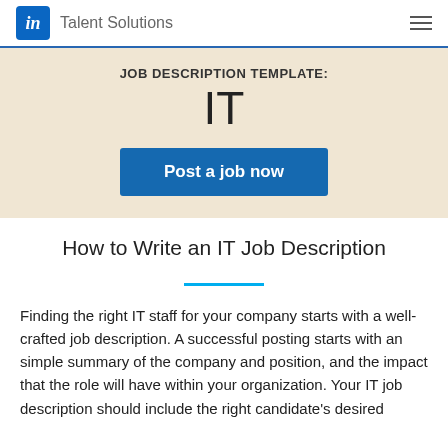in  Talent Solutions
JOB DESCRIPTION TEMPLATE:
IT
[Figure (other): Blue button with text 'Post a job now']
How to Write an IT Job Description
Finding the right IT staff for your company starts with a well-crafted job description. A successful posting starts with an simple summary of the company and position, and the impact that the role will have within your organization. Your IT job description should include the right candidate's desired